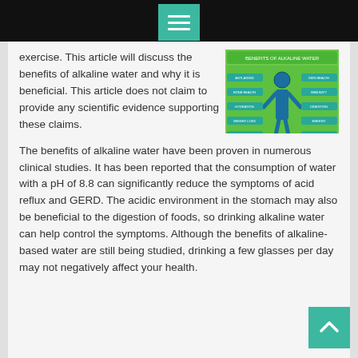Menu icon / navigation bar
exercise. This article will discuss the benefits of alkaline water and why it is beneficial. This article does not claim to provide any scientific evidence supporting these claims.
[Figure (infographic): Alkaline water health benefits infographic showing a human figure with body benefit callouts and a 'How to Get Alkaline Water' section with images of natural spring, filter, and bottled water.]
The benefits of alkaline water have been proven in numerous clinical studies. It has been reported that the consumption of water with a pH of 8.8 can significantly reduce the symptoms of acid reflux and GERD. The acidic environment in the stomach may also be beneficial to the digestion of foods, so drinking alkaline water can help control the symptoms. Although the benefits of alkaline-based water are still being studied, drinking a few glasses per day may not negatively affect your health.